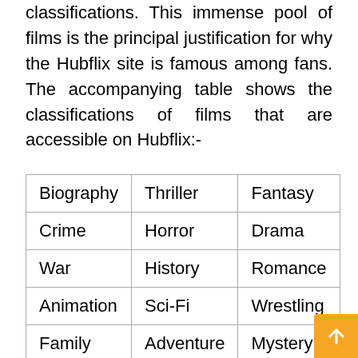classifications. This immense pool of films is the principal justification for why the Hubflix site is famous among fans. The accompanying table shows the classifications of films that are accessible on Hubflix:-
| Biography | Thriller | Fantasy |
| Crime | Horror | Drama |
| War | History | Romance |
| Animation | Sci-Fi | Wrestling |
| Family | Adventure | Mystery |